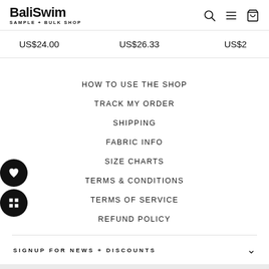BaliSwim SAMPLE + BULK SHOP
US$24.00   US$26.33   US$2…
HOW TO USE THE SHOP
TRACK MY ORDER
SHIPPING
FABRIC INFO
SIZE CHARTS
TERMS & CONDITIONS
TERMS OF SERVICE
REFUND POLICY
SIGNUP FOR NEWS + DISCOUNTS